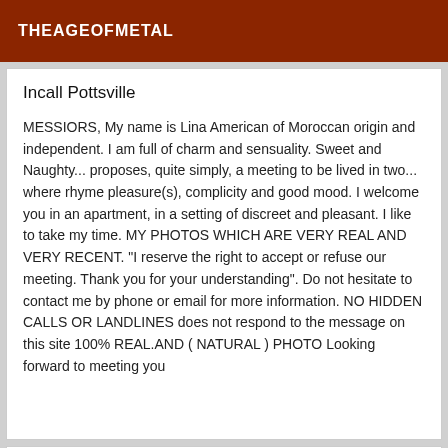THEAGEOFMETAL
Incall Pottsville
MESSIORS, My name is Lina American of Moroccan origin and independent. I am full of charm and sensuality. Sweet and Naughty... proposes, quite simply, a meeting to be lived in two... where rhyme pleasure(s), complicity and good mood. I welcome you in an apartment, in a setting of discreet and pleasant. I like to take my time. MY PHOTOS WHICH ARE VERY REAL AND VERY RECENT. "I reserve the right to accept or refuse our meeting. Thank you for your understanding". Do not hesitate to contact me by phone or email for more information. NO HIDDEN CALLS OR LANDLINES does not respond to the message on this site 100% REAL.AND ( NATURAL ) PHOTO Looking forward to meeting you